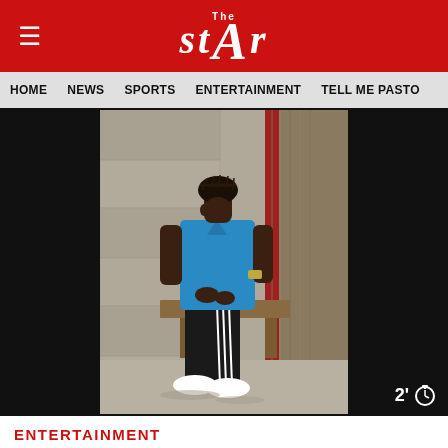The STAR
HOME  NEWS  SPORTS  ENTERTAINMENT  TELL ME PASTOR
[Figure (photo): Young man in blue polo shirt and black Adidas track pants with white stripe, wearing white sneakers, sitting on a wooden bench leaning against a weathered wooden door/post in a concrete block building. He has braided hair and is looking down. Red painted surface visible behind him.]
ENTERTAINMENT